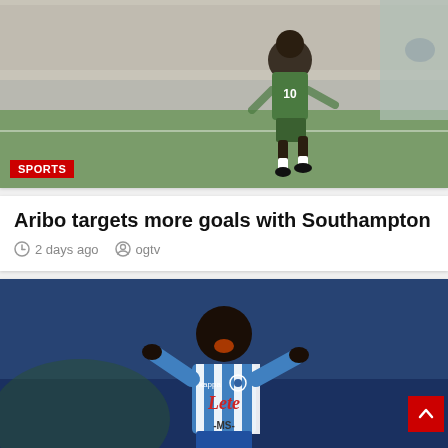[Figure (photo): Football player in green and white Nigeria national team kit (number 10) running/kicking on the pitch in a stadium]
SPORTS
Aribo targets more goals with Southampton
2 days ago  ogtv
[Figure (photo): Football player in Napoli blue and white striped kit celebrating with mouth open, wearing Lete sponsor shirt]
SPORTS